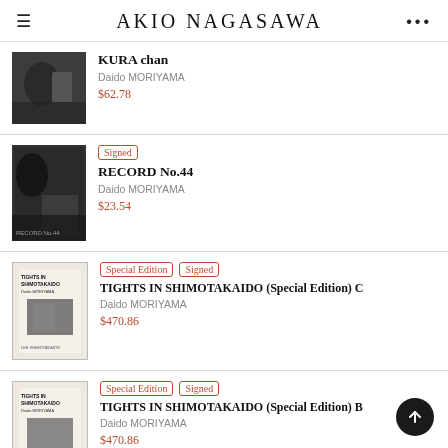AKIO NAGASAWA
[Figure (photo): Black and white photo thumbnail for KURA chan]
KURA chan
Daido MORIYAMA
$62.78
[Figure (photo): Black and white photo thumbnail for RECORD No.44]
Signed
RECORD No.44
Daido MORIYAMA
$23.54
[Figure (photo): Book cover thumbnail for TIGHTS IN SHIMOTAKAIDO (Special Edition) C]
Special Edition   Signed
TIGHTS IN SHIMOTAKAIDO (Special Edition) C
Daido MORIYAMA
$470.86
[Figure (photo): Book cover thumbnail for TIGHTS IN SHIMOTAKAIDO (Special Edition) B]
Special Edition   Signed
TIGHTS IN SHIMOTAKAIDO (Special Edition) B
Daido MORIYAMA
$470.86